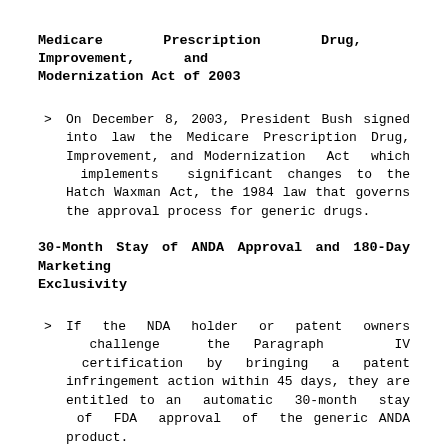Medicare Prescription Drug, Improvement, and Modernization Act of 2003
On December 8, 2003, President Bush signed into law the Medicare Prescription Drug, Improvement, and Modernization Act which implements significant changes to the Hatch Waxman Act, the 1984 law that governs the approval process for generic drugs.
30-Month Stay of ANDA Approval and 180-Day Marketing Exclusivity
If the NDA holder or patent owners challenge the Paragraph IV certification by bringing a patent infringement action within 45 days, they are entitled to an automatic 30-month stay of FDA approval of the generic ANDA product.
As an incentive to encourage generics to file